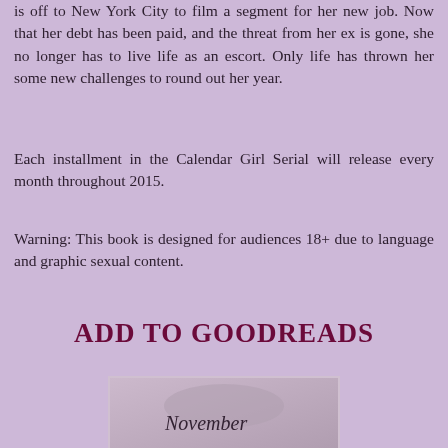is off to New York City to film a segment for her new job. Now that her debt has been paid, and the threat from her ex is gone, she no longer has to live life as an escort. Only life has thrown her some new challenges to round out her year.
Each installment in the Calendar Girl Serial will release every month throughout 2015.
Warning: This book is designed for audiences 18+ due to language and graphic sexual content.
ADD TO GOODREADS
[Figure (photo): Book cover image showing a person with cursive text 'November' written on skin, black and white photo style]